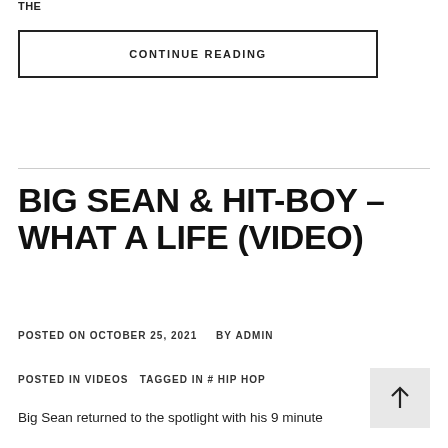THE
CONTINUE READING
BIG SEAN & HIT-BOY – WHAT A LIFE (VIDEO)
POSTED ON OCTOBER 25, 2021   BY ADMIN
POSTED IN VIDEOS   TAGGED IN # HIP HOP
Big Sean returned to the spotlight with his 9 minute